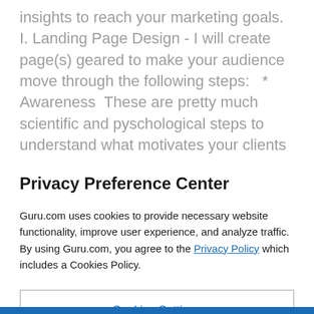insights to reach your marketing goals. I. Landing Page Design - I will create page(s) geared to make your audience move through the following steps:   * Awareness  These are pretty much scientific and pyschological steps to understand what motivates your clients and persuade them to make the action in the end. - Build landing pages integrated with all the features and tools you want to visit...
Privacy Preference Center
Guru.com uses cookies to provide necessary website functionality, improve user experience, and analyze traffic. By using Guru.com, you agree to the Privacy Policy which includes a Cookies Policy.
Cookies Settings
Reject All